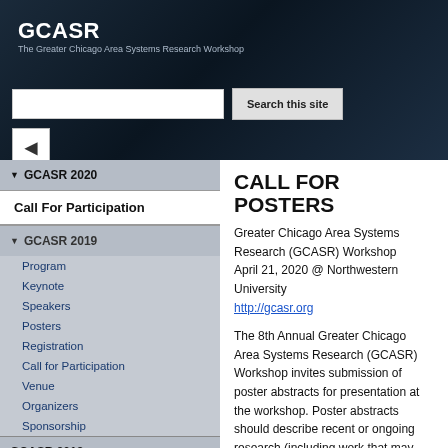GCASR
The Greater Chicago Area Systems Research Workshop
[Figure (screenshot): Search bar with text input and 'Search this site' button on dark blue header background]
GCASR 2020
Call For Participation
GCASR 2019
Program
Keynote
Speakers
Posters
Registration
Call for Participation
Venue
Organizers
Sponsorship
GCASR 2018
GCASR 2017
GCASR 2016
CALL FOR POSTERS
Greater Chicago Area Systems Research (GCASR) Workshop
April 21, 2020 @ Northwestern University
http://gcasr.org
The 8th Annual Greater Chicago Area Systems Research (GCASR) Workshop invites submission of poster abstracts for presentation at the workshop. Poster abstracts should describe recent or ongoing research (including work that may already be published) broadly related to systems. All abstracts will be reviewed by the organizing committee and selected for